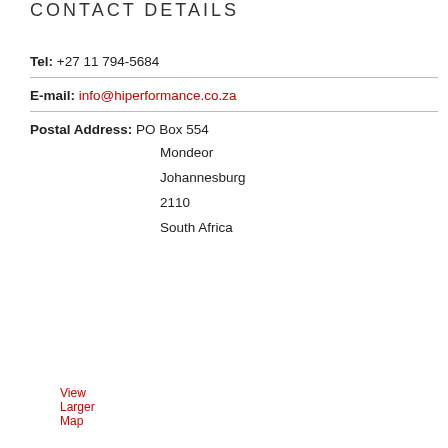CONTACT DETAILS
Tel: +27 11 794-5684
E-mail: info@hiperformance.co.za
Postal Address: PO Box 554
Mondeor
Johannesburg
2110
South Africa
View Larger Map